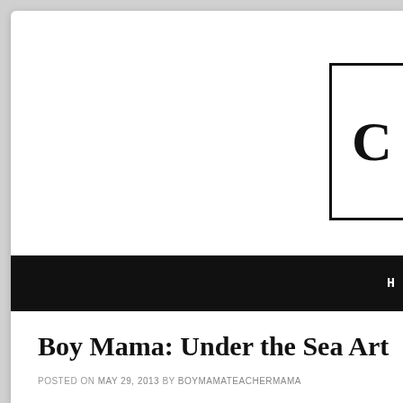[Figure (logo): Partial blog logo: a rectangular bordered box with a large letter, partially cropped at right edge]
[Figure (screenshot): Black navigation bar with partial white text starting with 'H']
Boy Mama: Under the Sea Art
POSTED ON MAY 29, 2013 BY BOYMAMATEACHERMAMA